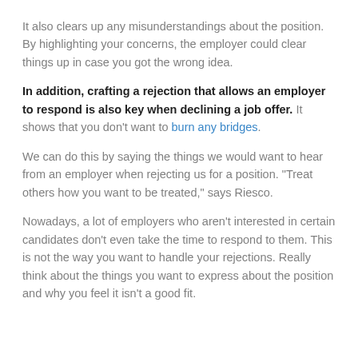It also clears up any misunderstandings about the position. By highlighting your concerns, the employer could clear things up in case you got the wrong idea.
In addition, crafting a rejection that allows an employer to respond is also key when declining a job offer. It shows that you don't want to burn any bridges.
We can do this by saying the things we would want to hear from an employer when rejecting us for a position. "Treat others how you want to be treated," says Riesco.
Nowadays, a lot of employers who aren't interested in certain candidates don't even take the time to respond to them. This is not the way you want to handle your rejections. Really think about the things you want to express about the position and why you feel it isn't a good fit.